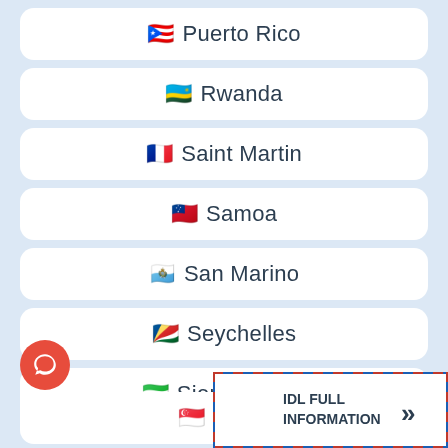🇵🇷 Puerto Rico
🇷🇼 Rwanda
🇲🇫 Saint Martin
🇼🇸 Samoa
🇸🇲 San Marino
🇸🇨 Seychelles
🇸🇱 Sierra Leone
🇸🇬 Singapore
[Figure (infographic): IDL FULL INFORMATION banner styled as an envelope with red and blue dashed border and a double chevron arrow]
[Figure (illustration): Red circular chat bubble button with white speech bubble icon]